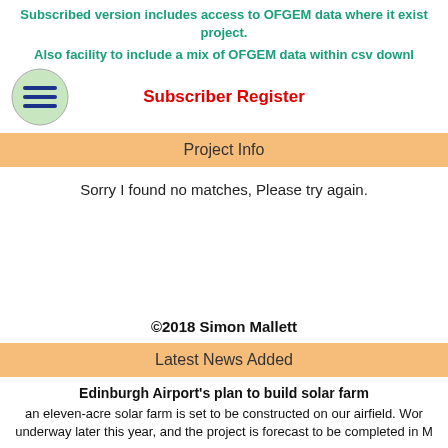Subscribed version includes access to OFGEM data where it exists for the project.
Also facility to include a mix of OFGEM data within csv downl...
Subscriber Register
Project Info
Sorry I found no matches, Please try again.
©2018 Simon Mallett
Latest News Added
Edinburgh Airport's plan to build solar farm
an eleven-acre solar farm is set to be constructed on our airfield. Work is underway later this year, and the project is forecast to be completed in M...